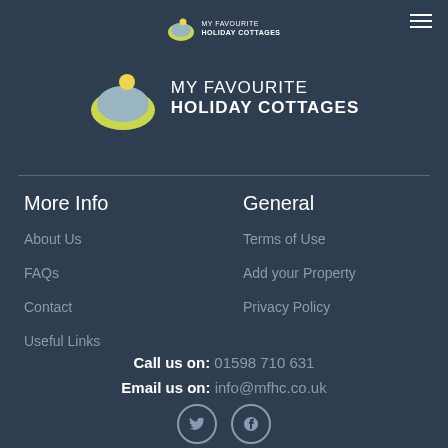MY FAVOURITE HOLIDAY COTTAGES
[Figure (logo): My Favourite Holiday Cottages logo - large centered version with landscape icon and text]
More Info
About Us
FAQs
Contact
Useful Links
General
Terms of Use
Add your Property
Privacy Policy
Call us on: 01598 710 631
Email us on: info@mfhc.co.uk